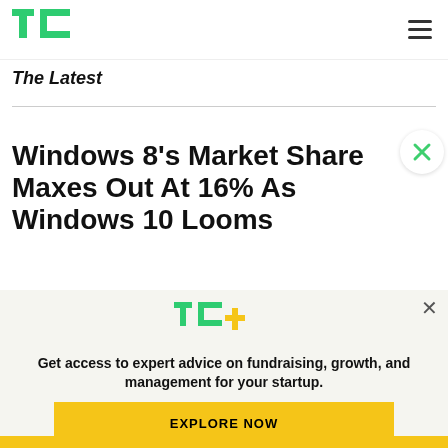TechCrunch header with TC logo and hamburger menu
The Latest
Windows 8's Market Share Maxes Out At 16% As Windows 10 Looms
[Figure (screenshot): TC+ promotional overlay: TC+ logo with green TC letters and yellow plus sign, tagline 'Get access to expert advice on fundraising, growth, and management for your startup.', and an EXPLORE NOW button]